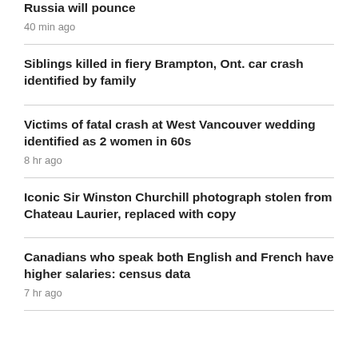Russia will pounce
40 min ago
Siblings killed in fiery Brampton, Ont. car crash identified by family
Victims of fatal crash at West Vancouver wedding identified as 2 women in 60s
8 hr ago
Iconic Sir Winston Churchill photograph stolen from Chateau Laurier, replaced with copy
Canadians who speak both English and French have higher salaries: census data
7 hr ago